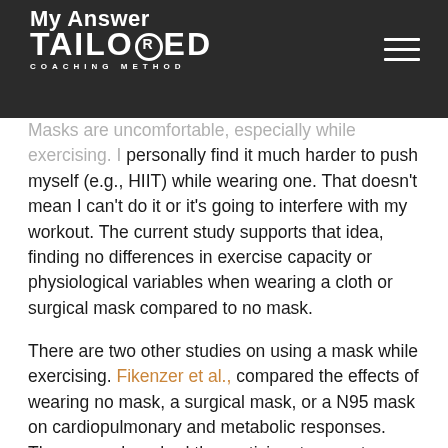My Answer — Tailored Coaching Method
Masks are uncomfortable, especially while exercising. I personally find it much harder to push myself (e.g., HIIT) while wearing one. That doesn't mean I can't do it or it's going to interfere with my workout. The current study supports that idea, finding no differences in exercise capacity or physiological variables when wearing a cloth or surgical mask compared to no mask.
There are two other studies on using a mask while exercising. Fikenzer et al., compared the effects of wearing no mask, a surgical mask, or a N95 mask on cardiopulmonary and metabolic responses. The researchers had the participants wear two masks. The mask they were testing (N95 or surgical) and the one for metabolic measures. The masks for the metabolic measures are fairly uncomfortable already so wearing two masks would make everything harder. The untrained participants then completed an incremental exercise test.